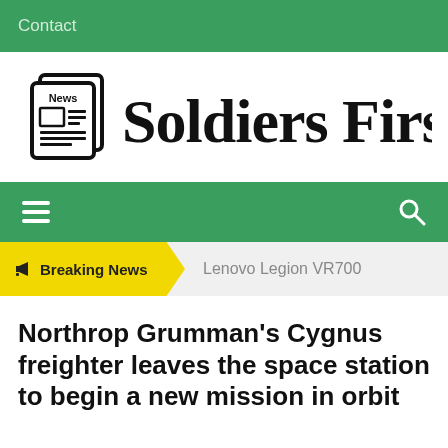Contact
[Figure (logo): Soldiers First news website logo with newspaper icon and blackletter brand name]
[Figure (screenshot): Green navigation bar with hamburger menu icon on left and search icon on right]
Breaking News   Lenovo Legion VR700
Northrop Grumman's Cygnus freighter leaves the space station to begin a new mission in orbit